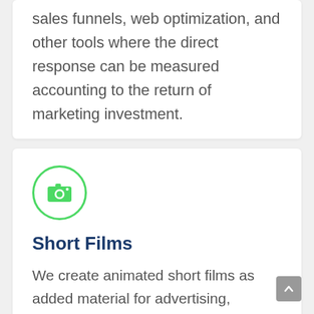sales funnels, web optimization, and other tools where the direct response can be measured accounting to the return of marketing investment.
[Figure (illustration): Green circle outline icon with a camera/photo icon inside]
Short Films
We create animated short films as added material for advertising, promotional campaigns, events, and